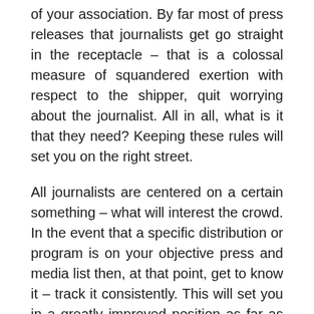of your association. By far most of press releases that journalists get go straight in the receptacle – that is a colossal measure of squandered exertion with respect to the shipper, quit worrying about the journalist. All in all, what is it that they need? Keeping these rules will set you on the right street.
All journalists are centered on a certain something – what will interest the crowd. In the event that a specific distribution or program is on your objective press and media list then, at that point, get to know it – track it consistently. This will set you in a greatly improved position as far as 'selling in' news or trying out thoughts – you will realize what will allure and what will not. Furthermore, it is a lot more straightforward to put your thoughts forward assuming you can reference late stories/things